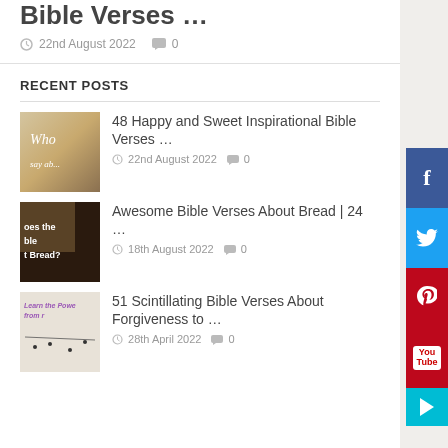Bible Verses …
22nd August 2022  0
RECENT POSTS
48 Happy and Sweet Inspirational Bible Verses …
22nd August 2022  0
Awesome Bible Verses About Bread | 24 …
18th August 2022  0
51 Scintillating Bible Verses About Forgiveness to …
28th April 2022  0
[Figure (infographic): Facebook social share button (blue)]
[Figure (infographic): Twitter social share button (light blue)]
[Figure (infographic): Pinterest social share button (red)]
[Figure (infographic): YouTube social share button (red)]
[Figure (infographic): Expand/arrow button (teal)]